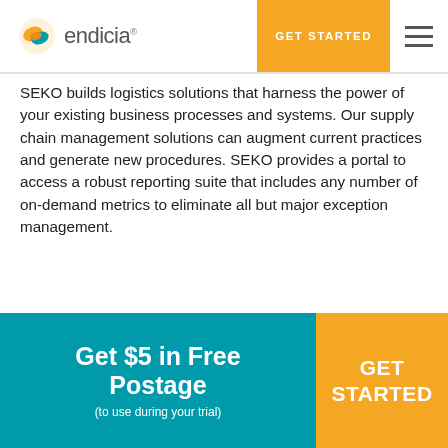endicia | GET STARTED
SEKO builds logistics solutions that harness the power of your existing business processes and systems. Our supply chain management solutions can augment current practices and generate new procedures. SEKO provides a portal to access a robust reporting suite that includes any number of on-demand metrics to eliminate all but major exception management.
Platform: Other
[Figure (illustration): Blue circle partially visible at bottom of content area]
Get $5 in Free Postage (to use during your trial) | GET STARTED